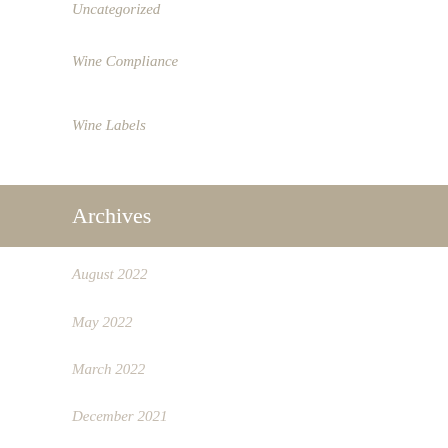Uncategorized
Wine Compliance
Wine Labels
Archives
August 2022
May 2022
March 2022
December 2021
August 2021
June 2021